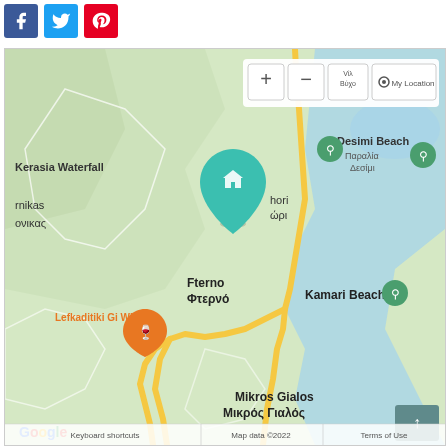[Figure (other): Social media share buttons: Facebook (blue), Twitter (light blue), Pinterest (red)]
[Figure (map): Google Maps screenshot showing area around Lefkada, Greece. Shows Desimi Beach, Kerasia Waterfall, Kamari Beach, Fterno/Φτερνό, Mikros Gialos/Μικρός Γιαλός, Lefkaditiki Gi Winery, and a teal house location pin. Yellow winding road visible. Map controls showing +, -, and My Location buttons. Google logo and copyright 2022 in bottom left.]